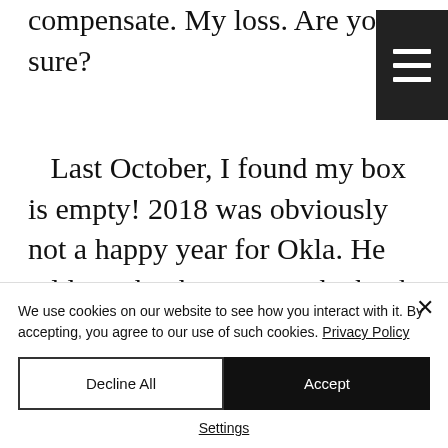compensate. My loss. Are you sure?
Last October, I found my box is empty! 2018 was obviously not a happy year for Okla. He told me that he went to the bank to check his safe deposit box, but when the bank employee opened his box, it was empty, and there
We use cookies on our website to see how you interact with it. By accepting, you agree to our use of such cookies. Privacy Policy
Decline All
Accept
Settings